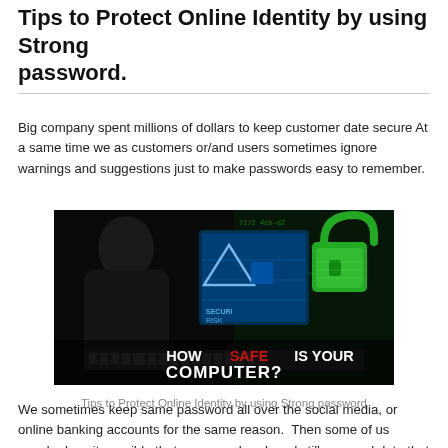Tips to Protect Online Identity by using Strong password.
Big company spent millions of dollars to keep customer date secure At a same time we as customers or/and users sometimes ignore warnings and suggestions just to make passwords easy to remember.
[Figure (photo): A hacker at a keyboard with a glowing digital security risk interface and an open padlock. Text overlay reads: HOW SAFE IS YOUR COMPUTER?]
Tips to Protect Online Identity by using Strong password
We sometimes keep same password all over the social media, or online banking accounts for the same reason.  Then some of us wander how it possible that someone break and still personal data that